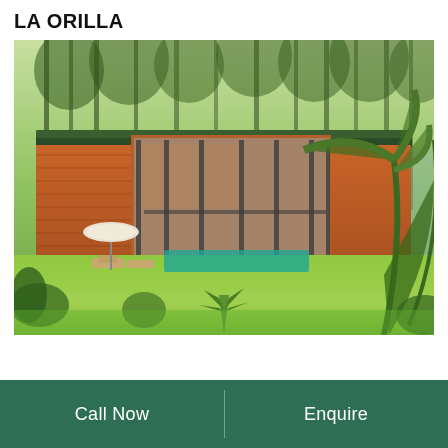LA ORILLA
[Figure (photo): Exterior rendering of La Orilla property — a modern brick-and-glass villa surrounded by tropical trees and palm fronds, with a pool, patio umbrella, and lush green lawn in the foreground.]
Call Now
Enquire